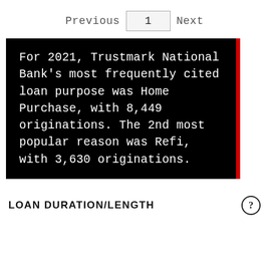Previous  1  Next
For 2021, Trustmark National Bank's most frequently cited loan purpose was Home Purchase, with 8,449 originations. The 2nd most popular reason was Refi, with 3,630 originations.
LOAN DURATION/LENGTH